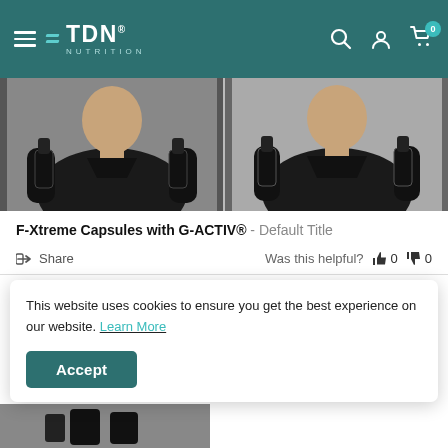TDN NUTRITION
[Figure (photo): Two side-by-side photos of a man in a black shirt holding supplement bottles]
F-Xtreme Capsules with G-ACTIV® - Default Title
Share   Was this helpful? 👍 0 👎 0
Andrew S.  Verified Buyer   12/13/2020
🇬🇧 United Kingdom
This website uses cookies to ensure you get the best experience on our website. Learn More
Accept